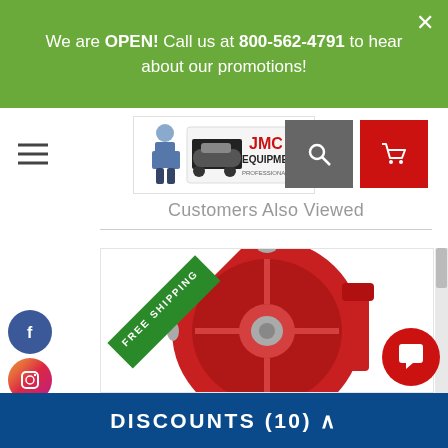We are OPEN! Call us at 800-562-4791 to hear about our promotions!
[Figure (logo): JMC Equipment logo with mechanic character and car on lift]
Customers Also Viewed
[Figure (photo): Red hose reel product with FREE SHIPPING badge in corner]
DISCOUNTS (10)